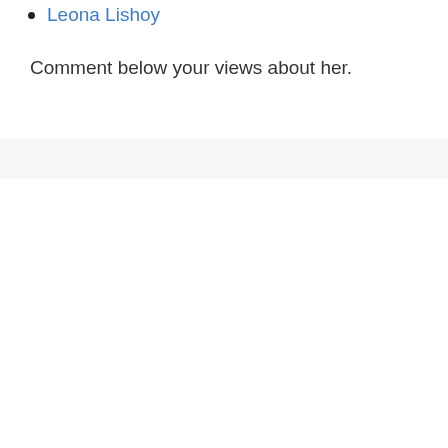Leona Lishoy
Comment below your views about her.